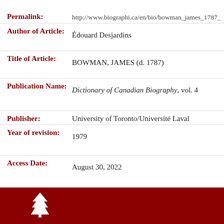Permalink: http://www.biographi.ca/en/bio/bowman_james_1787_
Author of Article: Édouard Desjardins
Title of Article: BOWMAN, JAMES (d. 1787)
Publication Name: Dictionary of Canadian Biography, vol. 4
Publisher: University of Toronto/Université Laval
Year of revision: 1979
Access Date: August 30, 2022
[Figure (logo): White tree logo on dark red footer bar]